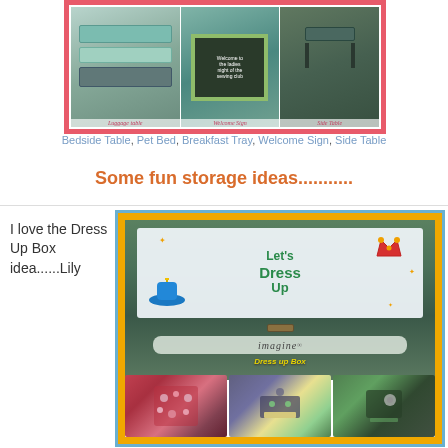[Figure (photo): A collage of suitcase upcycle projects: Bedside Table, Pet Bed, Breakfast Tray, Welcome Sign, Side Table — shown in a pink-bordered grid]
Bedside Table, Pet Bed, Breakfast Tray, Welcome Sign, Side Table
Some fun storage ideas...........
I love the Dress Up Box idea......Lily
[Figure (photo): A yellow and blue bordered collage featuring a decorated green suitcase labeled 'Let's Dress Up' / 'imagine' / 'Dress up Box', plus three smaller photos of storage/craft suitcases]